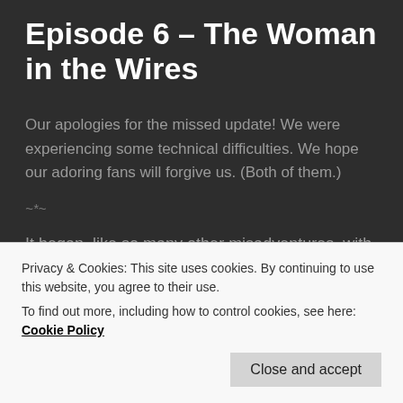Episode 6 – The Woman in the Wires
Our apologies for the missed update! We were experiencing some technical difficulties. We hope our adoring fans will forgive us. (Both of them.)
~*~
It began, like so many other misadventures, with a call.
Privacy & Cookies: This site uses cookies. By continuing to use this website, you agree to their use.
To find out more, including how to control cookies, see here: Cookie Policy
Close and accept
shoot at them, unless a water balloon counted. But Ash